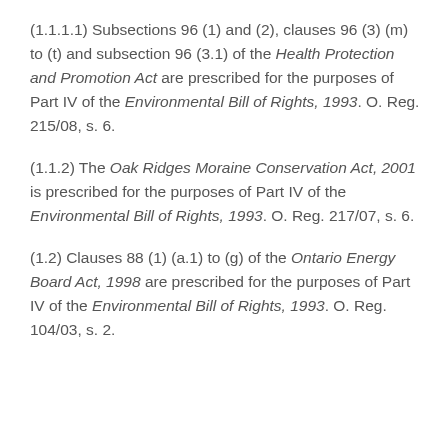(1.1.1.1) Subsections 96 (1) and (2), clauses 96 (3) (m) to (t) and subsection 96 (3.1) of the Health Protection and Promotion Act are prescribed for the purposes of Part IV of the Environmental Bill of Rights, 1993. O. Reg. 215/08, s. 6.
(1.1.2) The Oak Ridges Moraine Conservation Act, 2001 is prescribed for the purposes of Part IV of the Environmental Bill of Rights, 1993. O. Reg. 217/07, s. 6.
(1.2) Clauses 88 (1) (a.1) to (g) of the Ontario Energy Board Act, 1998 are prescribed for the purposes of Part IV of the Environmental Bill of Rights, 1993. O. Reg. 104/03, s. 2.